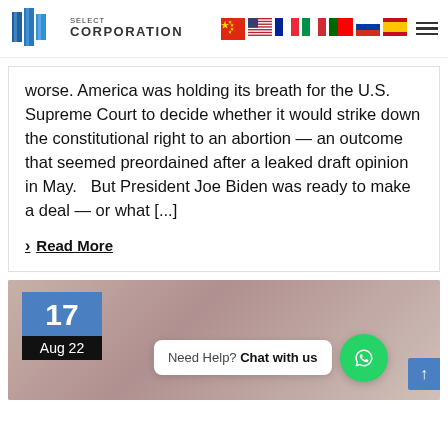BMG Select Corporation
worse. America was holding its breath for the U.S. Supreme Court to decide whether it would strike down the constitutional right to an abortion — an outcome that seemed preordained after a leaked draft opinion in May.   But President Joe Biden was ready to make a deal — or what [...]
> Read More
[Figure (photo): News article card with date badge showing 17 Aug 22, a blurred background image with a woman, a chat widget saying 'Need Help? Chat with us' with WhatsApp icon, and a scroll-to-top button.]